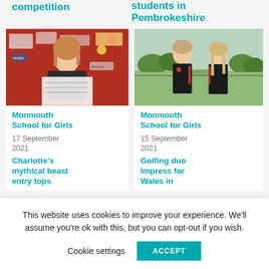competition
students in Pembrokeshire
[Figure (photo): Young girl holding papers in front of a red classroom bulletin board with German language materials]
Monmouth School for Girls
17 September 2021
Charlotte's mythical beast entry tops
[Figure (photo): Two teenagers in black Welsh sports jackets standing outdoors with green hills in background]
Monmouth School for Girls
15 September 2021
Golfing duo impress for Wales in
This website uses cookies to improve your experience. We'll assume you're ok with this, but you can opt-out if you wish.
Cookie settings
ACCEPT